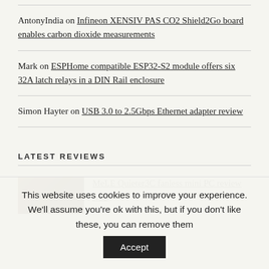AntonyIndia on Infineon XENSIV PAS CO2 Shield2Go board enables carbon dioxide measurements
Mark on ESPHome compatible ESP32-S2 module offers six 32A latch relays in a DIN Rail enclosure
Simon Hayter on USB 3.0 to 2.5Gbps Ethernet adapter review
LATEST REVIEWS
[Figure (photo): Thumbnail image of MeLE Quieter3C fanless mini PC]
MeLE Quieter3C fanless mini PC review with
This website uses cookies to improve your experience. We'll assume you're ok with this, but if you don't like these, you can remove them